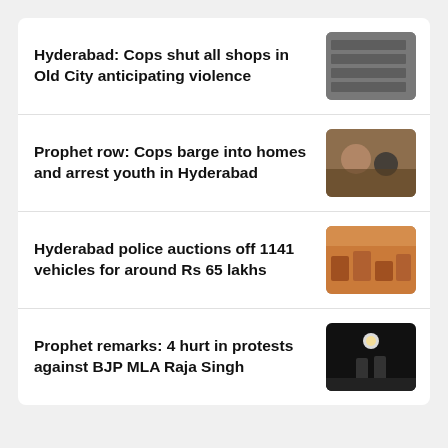Hyderabad: Cops shut all shops in Old City anticipating violence
[Figure (photo): Shuttered shops in Old City Hyderabad]
Prophet row: Cops barge into homes and arrest youth in Hyderabad
[Figure (photo): Police arresting youth in Hyderabad]
Hyderabad police auctions off 1141 vehicles for around Rs 65 lakhs
[Figure (photo): Vehicles at auction event]
Prophet remarks: 4 hurt in protests against BJP MLA Raja Singh
[Figure (photo): Police at night during protests]